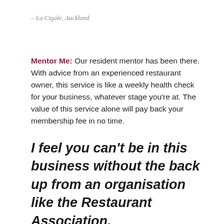– La Cigale, Auckland
Mentor Me: Our resident mentor has been there. With advice from an experienced restaurant owner, this service is like a weekly health check for your business, whatever stage you're at. The value of this service alone will pay back your membership fee in no time.
I feel you can't be in this business without the back up from an organisation like the Restaurant Association.